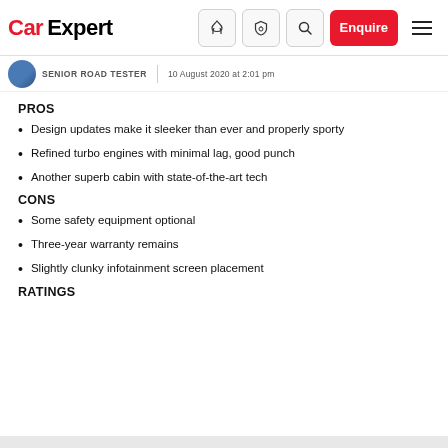CarExpert — navigation header with logo, icons, Enquire button, and hamburger menu
SENIOR ROAD TESTER | 10 August 2020 at 2:01 pm
PROS
Design updates make it sleeker than ever and properly sporty
Refined turbo engines with minimal lag, good punch
Another superb cabin with state-of-the-art tech
CONS
Some safety equipment optional
Three-year warranty remains
Slightly clunky infotainment screen placement
RATINGS